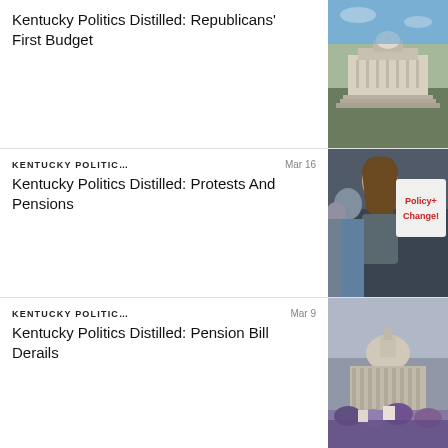Kentucky Politics Distilled: Republicans' First Budget
[Figure (photo): Kentucky State Capitol building exterior with blue sky]
KENTUCKY POLITIC…   Mar 16
Kentucky Politics Distilled: Protests And Pensions
[Figure (photo): Young woman at protest holding Policy Change sign]
KENTUCKY POLITIC…   Mar 9
Kentucky Politics Distilled: Pension Bill Derails
[Figure (photo): Kentucky State Capitol dome with protest crowd in foreground]
KENTUCKY POLITIC…   Mar 3
Kentucky Politics Distilled: Will Republicans Raise Taxes?
[Figure (photo): Kentucky State Capitol building at dusk with autumn trees]